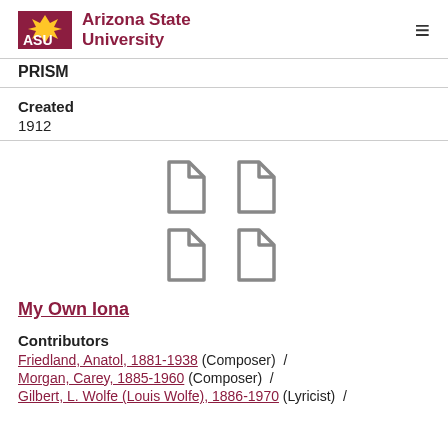ASU Arizona State University | PRISM
Created
1912
[Figure (illustration): Four document/page icons arranged in a 2x2 grid, shown in gray outline style]
My Own Iona
Contributors
Friedland, Anatol, 1881-1938 (Composer) /
Morgan, Carey, 1885-1960 (Composer) /
Gilbert, L. Wolfe (Louis Wolfe), 1886-1970 (Lyricist) /